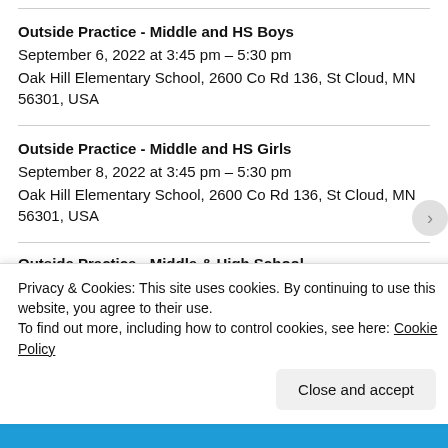Outside Practice - Middle and HS Boys
September 6, 2022 at 3:45 pm – 5:30 pm
Oak Hill Elementary School, 2600 Co Rd 136, St Cloud, MN 56301, USA
Outside Practice - Middle and HS Girls
September 8, 2022 at 3:45 pm – 5:30 pm
Oak Hill Elementary School, 2600 Co Rd 136, St Cloud, MN 56301, USA
Outside Practice - Middle & High School
Privacy & Cookies: This site uses cookies. By continuing to use this website, you agree to their use.
To find out more, including how to control cookies, see here: Cookie Policy